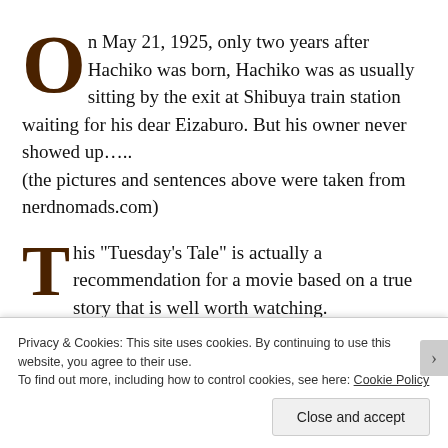On May 21, 1925, only two years after Hachiko was born, Hachiko was as usually sitting by the exit at Shibuya train station waiting for his dear Eizaburo. But his owner never showed up….. (the pictures and sentences above were taken from nerdnomads.com)
This “Tuesday’s Tale” is actually a recommendation for a movie based on a true story that is well worth watching.
Privacy & Cookies: This site uses cookies. By continuing to use this website, you agree to their use.
To find out more, including how to control cookies, see here: Cookie Policy